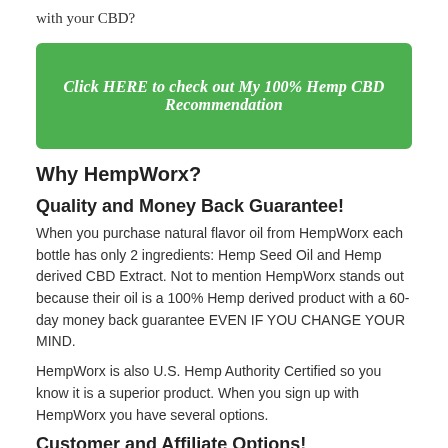with your CBD?
[Figure (other): Green button with italic bold white text: Click HERE to check out My 100% Hemp CBD Recommendation]
Why HempWorx?
Quality and Money Back Guarantee!
When you purchase natural flavor oil from HempWorx each bottle has only 2 ingredients: Hemp Seed Oil and Hemp derived CBD Extract. Not to mention HempWorx stands out because their oil is a 100% Hemp derived product with a 60-day money back guarantee EVEN IF YOU CHANGE YOUR MIND.
HempWorx is also U.S. Hemp Authority Certified so you know it is a superior product. When you sign up with HempWorx you have several options.
Customer and Affiliate Options!
You can be a retail customer or join as a preferred customer.  This